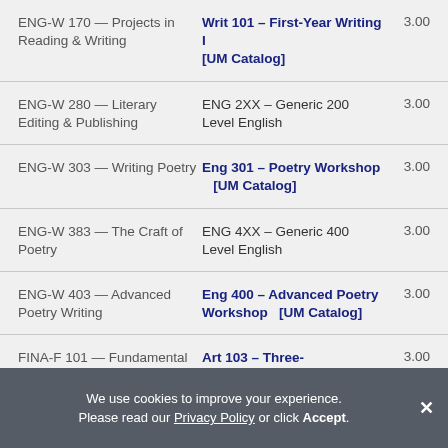| IU Course | UM Equivalent | Credits |
| --- | --- | --- |
| ENG-W 170 — Projects in Reading & Writing | Writ 101 – First-Year Writing I [UM Catalog] | 3.00 |
| ENG-W 280 — Literary Editing & Publishing | ENG 2XX – Generic 200 Level English | 3.00 |
| ENG-W 303 — Writing Poetry | Eng 301 – Poetry Workshop [UM Catalog] | 3.00 |
| ENG-W 383 — The Craft of Poetry | ENG 4XX – Generic 400 Level English | 3.00 |
| ENG-W 403 — Advanced Poetry Writing | Eng 400 – Advanced Poetry Workshop [UM Catalog] | 3.00 |
| FINA-F 101 — Fundamental Studio-3D | Art 103 – Three-Dimensional Design [UM Catalog] | 3.00 |
We use cookies to improve your experience. Please read our Privacy Policy or click Accept.